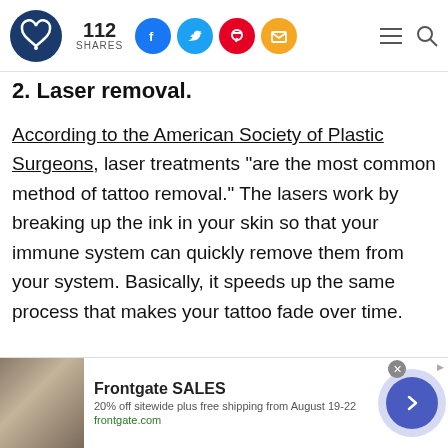112 SHARES
2. Laser removal.
According to the American Society of Plastic Surgeons, laser treatments "are the most common method of tattoo removal." The lasers work by breaking up the ink in your skin so that your immune system can quickly remove them from your system. Basically, it speeds up the same process that makes your tattoo fade over time.
[Figure (screenshot): Advertisement banner for Frontgate SALES: 20% off sitewide plus free shipping from August 19-22. frontgate.com]